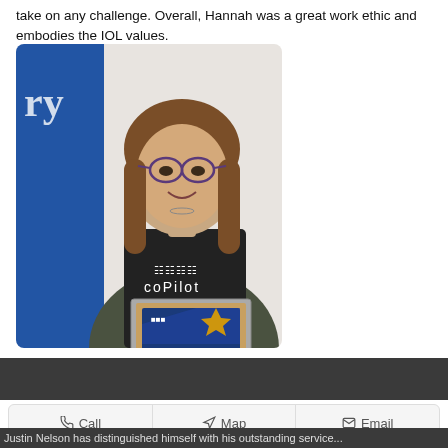take on any challenge. Overall, Hannah was a great work ethic and embodies the IOL values.
[Figure (photo): A young woman with glasses and medium-length hair wearing a black 'copilot' t-shirt and olive cardigan, holding a framed award certificate, standing in front of a blue banner.]
January 2019
Call   Map   Email
Justin Nelson has distinguished himself with his outstanding service...